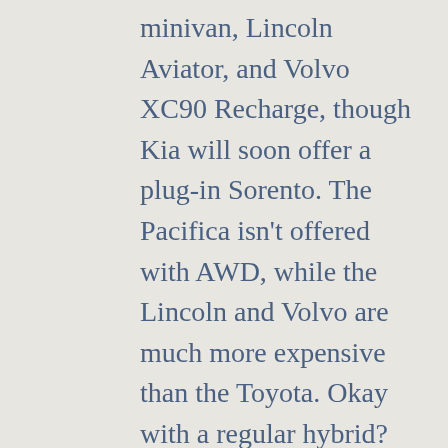minivan, Lincoln Aviator, and Volvo XC90 Recharge, though Kia will soon offer a plug-in Sorento. The Pacifica isn't offered with AWD, while the Lincoln and Volvo are much more expensive than the Toyota. Okay with a regular hybrid? Then your options also include the Ford Explorer Hybrid and the Kia Sorento Hybrid. Unlike the upcoming PHEV, the latter is not offered with AWD.
Thanks to its four-cylinder engine, the latest Highlander Hybrid is significantly more fuel-efficient than previous V6-powered generations and than all of the above except the Kia. Specifically, the 2021 HiHy with FWD managed 36 mpg city and 35 mpg highway in the EPA's tests. AWD costs a single mpg in the city and none on the highway unless you got the Limited